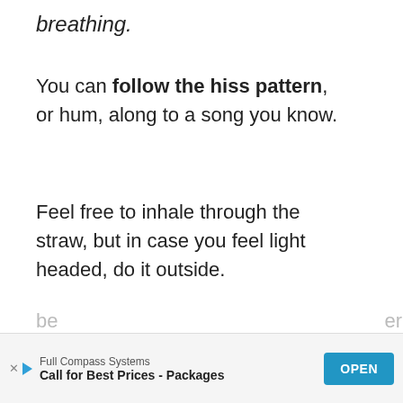breathing.
You can follow the hiss pattern, or hum, along to a song you know.
Feel free to inhale through the straw, but in case you feel light headed, do it outside.
You can try to hum a song you will be
[Figure (other): Advertisement bar: Full Compass Systems — Call for Best Prices - Packages — OPEN button]